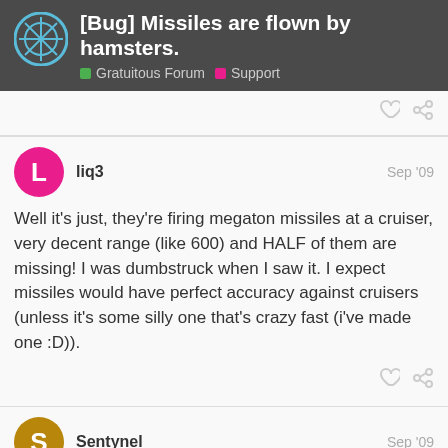[Bug] Missiles are flown by hamsters. | Gratuitous Forum | Support
liq3  Sep '09
Well it's just, they're firing megaton missiles at a cruiser, very decent range (like 600) and HALF of them are missing! I was dumbstruck when I saw it. I expect missiles would have perfect accuracy against cruisers (unless it's some silly one that's crazy fast (i've made one :D)).
Sentynel  Sep '09
cliffski: | Think of GSB...the second battle of...
5 / 8